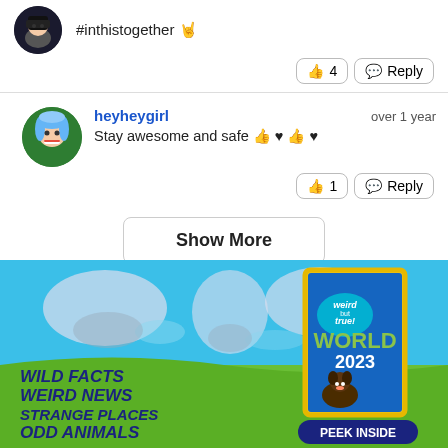#inthistogether 🤘
👍 4  💬 Reply
heyheygirl   over 1 year
Stay awesome and safe 👍 ♥ 👍 ♥
👍 1  💬 Reply
Show More
[Figure (illustration): Advertisement for National Geographic Weird But True! World 2023 book. Shows a world map background with blue sky and green ground. Text reads: WILD FACTS WEIRD NEWS STRANGE PLACES ODD ANIMALS. Book cover visible on right side. PEEK INSIDE button at bottom.]